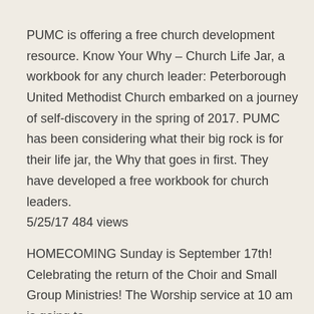PUMC is offering a free church development resource. Know Your Why – Church Life Jar, a workbook for any church leader: Peterborough United Methodist Church embarked on a journey of self-discovery in the spring of 2017. PUMC has been considering what their big rock is for their life jar, the Why that goes in first. They have developed a free workbook for church leaders.
5/25/17 484 views
HOMECOMING Sunday is September 17th! Celebrating the return of the Choir and Small Group Ministries! The Worship service at 10 am is going to